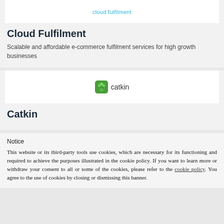[Figure (logo): Cloud Fulfilment logo — text 'cloud fulfilment' in cyan/teal color on white background]
Cloud Fulfilment
Scalable and affordable e-commerce fulfilment services for high growth businesses
[Figure (logo): Catkin logo — green plant icon next to the text 'catkin' on white background]
Catkin
Notice
This website or its third-party tools use cookies, which are necessary for its functioning and required to achieve the purposes illustrated in the cookie policy. If you want to learn more or withdraw your consent to all or some of the cookies, please refer to the cookie policy. You agree to the use of cookies by closing or dismissing this banner.